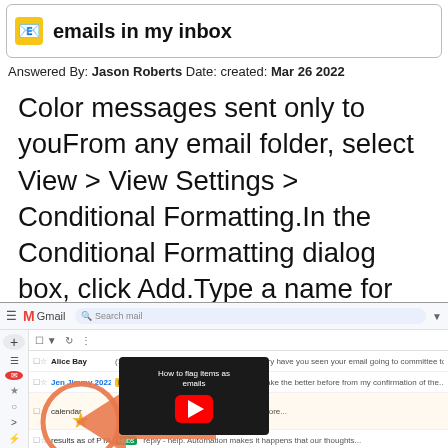emails in my inbox
Answered By: Jason Roberts Date: created: Mar 26 2022
Color messages sent only to youFrom any email folder, select View > View Settings > Conditional Formatting.In the Conditional Formatting dialog box, click Add.Type a name for your rule name in the Name box, and then click Condition.More items...
[Figure (screenshot): Gmail inbox screenshot with a YouTube video thumbnail overlay showing an arrow pointing to a starred email with the text 'How to flag items as email' and a YouTube play button]